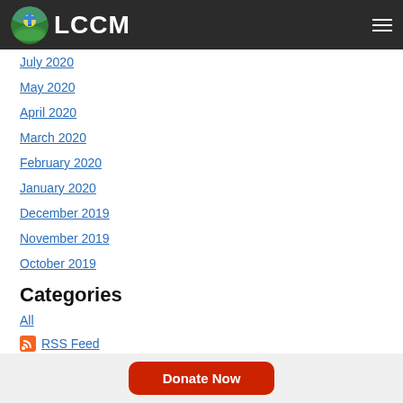LCCM
July 2020
May 2020
April 2020
March 2020
February 2020
January 2020
December 2019
November 2019
October 2019
Categories
All
RSS Feed
Donate Now